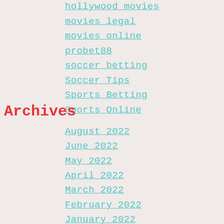hollywood movies
movies legal
movies online
probet88
soccer betting
Soccer Tips
Sports Betting
Sports Online
Archives
August 2022
June 2022
May 2022
April 2022
March 2022
February 2022
January 2022
December 2021
November 2021